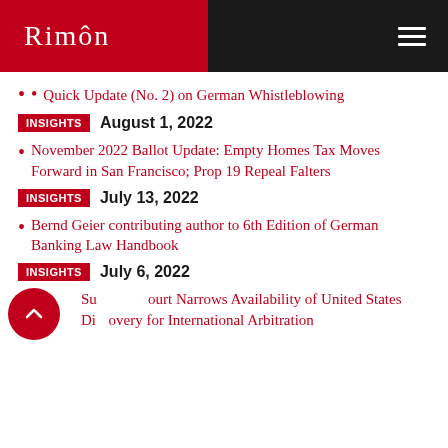RIMÔN
Quick Update (No. 2) on German Whistleblowing
INSIGHTS  August 1, 2022
November 2022 Ballot Update: Empty Homes Tax Moves Forward in San Francisco; Prop 19 Repeal Falters
INSIGHTS  July 13, 2022
Bernd Geier contributing author to 6th Edition of German Banking Law Handbook
INSIGHTS  July 6, 2022
Supreme Court Narrows Availability of United States Discovery for International Arbitration